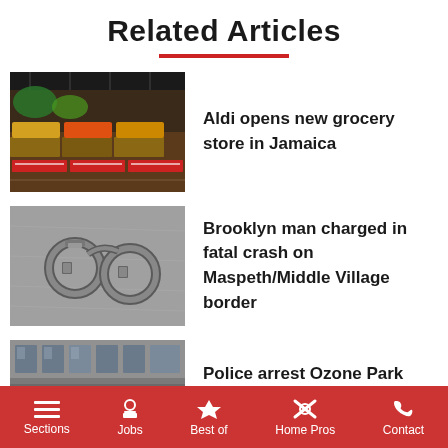Related Articles
[Figure (photo): Interior of an Aldi grocery store showing produce displays and shelving]
Aldi opens new grocery store in Jamaica
[Figure (photo): A pair of metal handcuffs on a gray surface]
Brooklyn man charged in fatal crash on Maspeth/Middle Village border
[Figure (photo): Partially visible building exterior, cropped]
Police arrest Ozone Park
Sections  Jobs  Best of  Home Pros  Contact